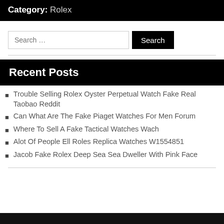Category: Rolex
Search ...
Recent Posts
Trouble Selling Rolex Oyster Perpetual Watch Fake Real Taobao Reddit
Can What Are The Fake Piaget Watches For Men Forum
Where To Sell A Fake Tactical Watches Wach
Alot Of People Ell Roles Replica Watches W1554851
Jacob Fake Rolex Deep Sea Sea Dweller With Pink Face